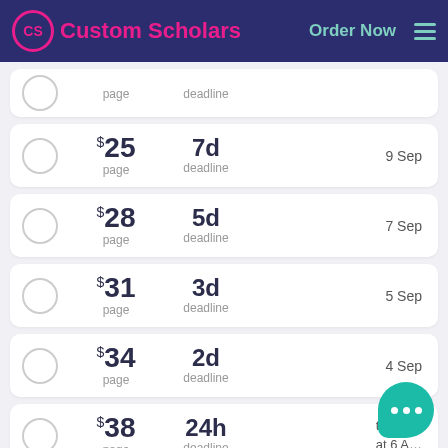Custom Scholars  Order Now
$  page  deadline
$25 page  7d deadline  9 Sep
$28 page  5d deadline  7 Sep
$31 page  3d deadline  5 Sep
$34 page  2d deadline  4 Sep
$38 page  24h deadline  tomorrow at 6 A...